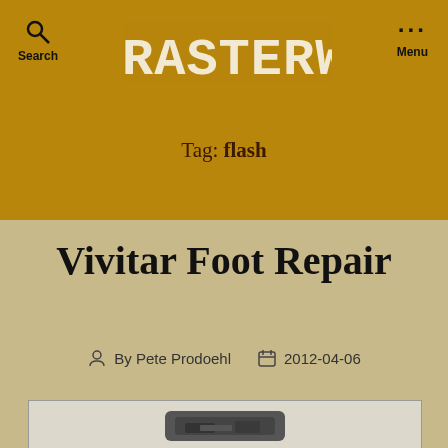RASTERWEB — Search | Menu
Tag: flash
Vivitar Foot Repair
By Pete Prodoehl  2012-04-06
[Figure (photo): Partial view of a camera flash unit, dark colored device on light background]